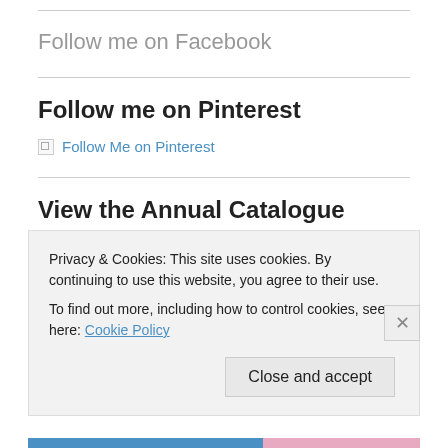Follow me on Facebook
Follow me on Pinterest
[Figure (other): Broken image placeholder link for Follow Me on Pinterest]
View the Annual Catalogue
Privacy & Cookies: This site uses cookies. By continuing to use this website, you agree to their use.
To find out more, including how to control cookies, see here: Cookie Policy
Close and accept